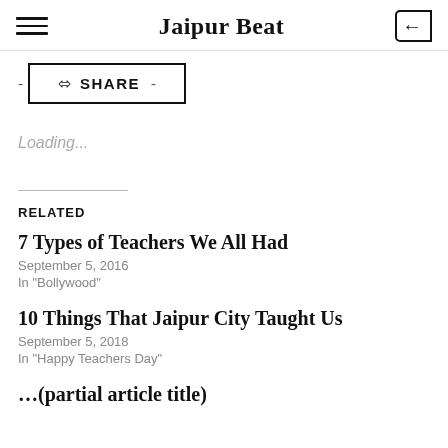Jaipur Beat
SHARE
Loading...
RELATED
7 Types of Teachers We All Had
September 5, 2016
In "Bollywood"
10 Things That Jaipur City Taught Us
September 5, 2018
In "Happy Teachers Day"
(partial article title cut off)